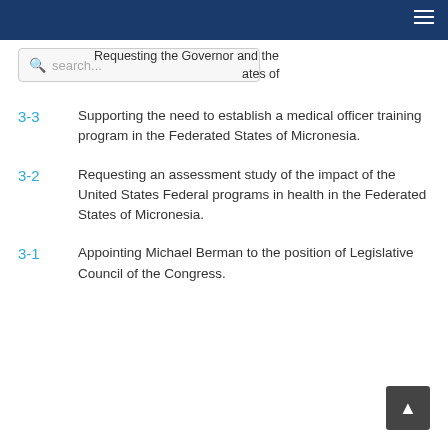Requesting the Governor and the ...ates of
3-3  Supporting the need to establish a medical officer training program in the Federated States of Micronesia.
3-2  Requesting an assessment study of the impact of the United States Federal programs in health in the Federated States of Micronesia.
3-1  Appointing Michael Berman to the position of Legislative Council of the Congress.